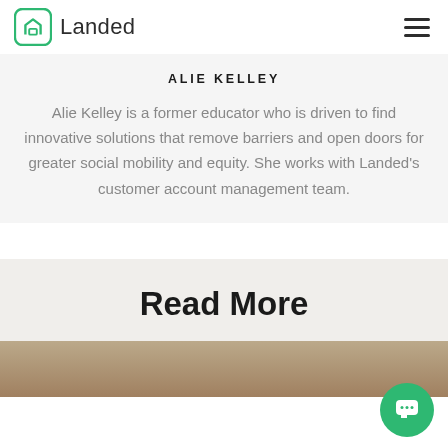Landed
ALIE KELLEY
Alie Kelley is a former educator who is driven to find innovative solutions that remove barriers and open doors for greater social mobility and equity. She works with Landed's customer account management team.
Read More
[Figure (photo): Bottom image strip showing what appears to be a wooden surface or furniture, partially visible at the bottom of the page.]